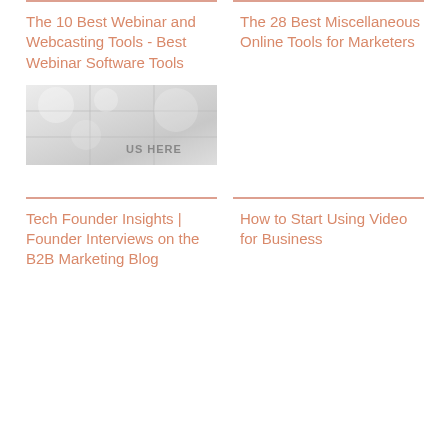The 10 Best Webinar and Webcasting Tools - Best Webinar Software Tools
The 28 Best Miscellaneous Online Tools for Marketers
[Figure (photo): A light-colored tiled surface with text partially visible reading 'US HERE']
Tech Founder Insights | Founder Interviews on the B2B Marketing Blog
How to Start Using Video for Business